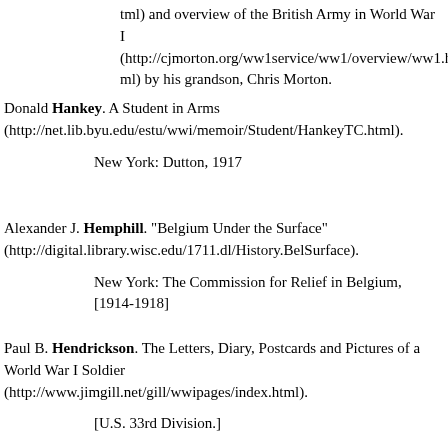tml) and overview of the British Army in World War I (http://cjmorton.org/ww1service/ww1/overview/ww1.html) by his grandson, Chris Morton.
Donald Hankey. A Student in Arms (http://net.lib.byu.edu/estu/wwi/memoir/Student/HankeyTC.html).

            New York: Dutton, 1917
Alexander J. Hemphill. "Belgium Under the Surface" (http://digital.library.wisc.edu/1711.dl/History.BelSurface).

            New York: The Commission for Relief in Belgium, [1914-1918]
Paul B. Hendrickson. The Letters, Diary, Postcards and Pictures of a World War I Soldier (http://www.jimgill.net/gill/wwipages/index.html).

            [U.S. 33rd Division.]